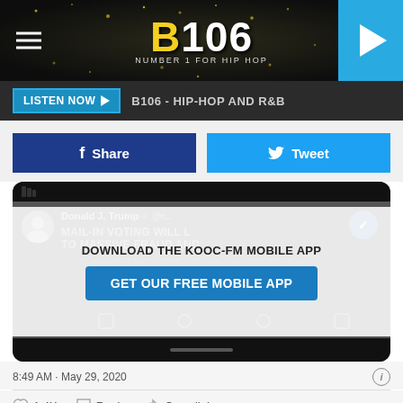[Figure (screenshot): B106 radio station header banner with logo, hamburger menu, and play button]
LISTEN NOW ▶  B106 - HIP-HOP AND R&B
f  Share
Tweet
[Figure (screenshot): Tweet screenshot showing Donald J. Trump tweet about mail-in voting with mobile app download overlay: DOWNLOAD THE KOOC-FM MOBILE APP / GET OUR FREE MOBILE APP]
8:49 AM · May 29, 2020
1.4K  Reply  Copy link
Read 12 replies